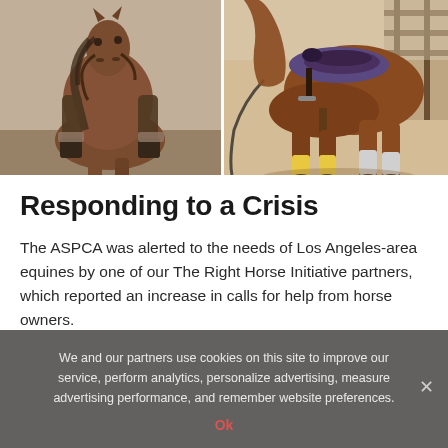[Figure (photo): Left photo: A rider on a brown horse galloping, dusty/misty background, frontal view showing horse's face and rider's legs]
[Figure (photo): Right photo: A saddled brown horse standing in sandy/dirt area, viewed from the side showing lower body and legs with wraps/boots]
Responding to a Crisis
The ASPCA was alerted to the needs of Los Angeles-area equines by one of our The Right Horse Initiative partners, which reported an increase in calls for help from horse owners.
We and our partners use cookies on this site to improve our service, perform analytics, personalize advertising, measure advertising performance, and remember website preferences.
Ok